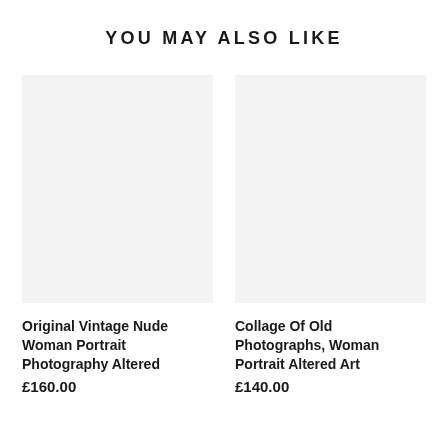YOU MAY ALSO LIKE
[Figure (photo): Empty light grey placeholder image for product 1]
Original Vintage Nude Woman Portrait Photography Altered
£160.00
[Figure (photo): Empty light grey placeholder image for product 2]
Collage Of Old Photographs, Woman Portrait Altered Art
£140.00